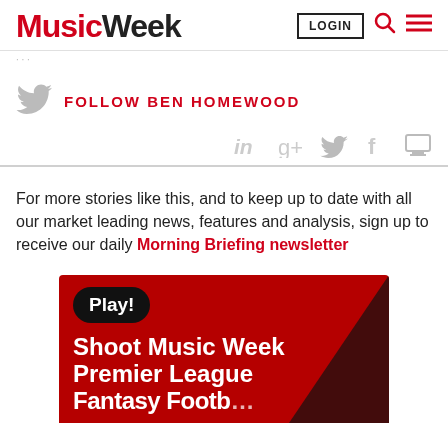Music Week | LOGIN
FOLLOW BEN HOMEWOOD
[Figure (other): Share icons: LinkedIn, Google+, Twitter, Facebook, Print]
For more stories like this, and to keep up to date with all our market leading news, features and analysis, sign up to receive our daily Morning Briefing newsletter
[Figure (other): Promotional banner: Play! Shoot Music Week Premier League Fantasy Football]